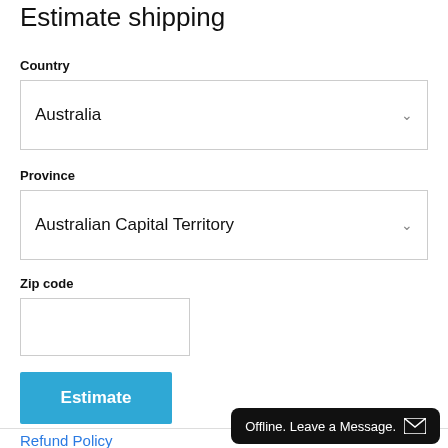Estimate shipping
Country
Australia
Province
Australian Capital Territory
Zip code
Estimate
Refund Policy
Offline. Leave a Message.